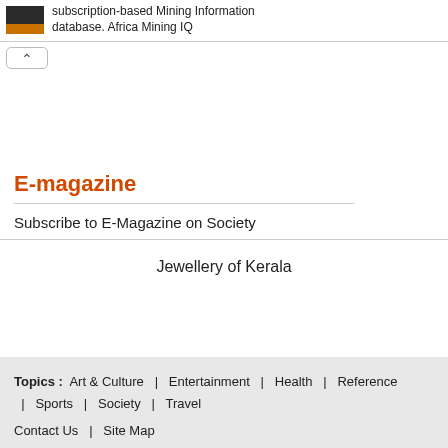subscription-based Mining Information database. Africa Mining IQ
^
E-magazine
Subscribe to E-Magazine on Society
Jewellery of Kerala
Topics : Art & Culture | Entertainment | Health | Reference | Sports | Society | Travel
Contact Us | Site Map